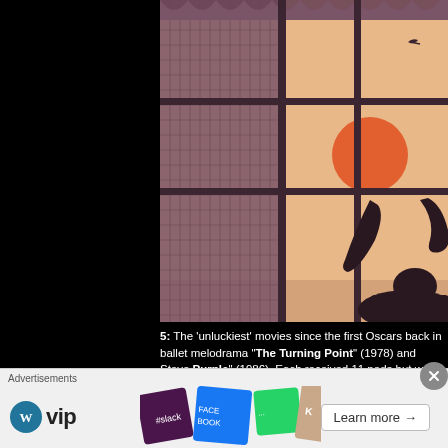[Figure (illustration): A vintage illustrated image showing a window with curtains/drapes, a reddish-orange sun visible through the window panes, and the silhouette of a person (appearing to be seated or reclining) visible in the lower right portion of the image. The left portion of the page is solid black.]
5: The 'unluckiest' movies since the first Oscars back in ballet melodrama "The Turning Point" (1978) and Stev Purple" (1986). Each received 11 nods but won nothing
Advertisements
[Figure (screenshot): Advertisement banner showing WordPress VIP logo on left, decorative social media brand tiles (Slack, Facebook, etc.) in the middle, and a 'Learn more →' button on the right.]